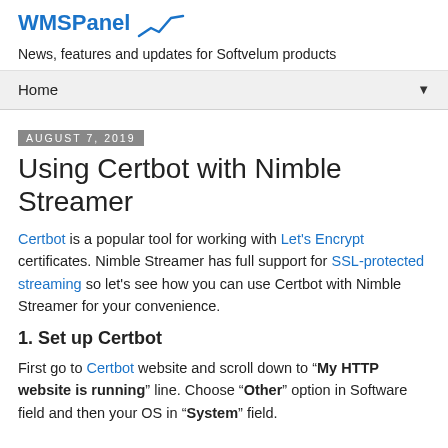WMSPanel — News, features and updates for Softvelum products
Home
August 7, 2019
Using Certbot with Nimble Streamer
Certbot is a popular tool for working with Let's Encrypt certificates. Nimble Streamer has full support for SSL-protected streaming so let's see how you can use Certbot with Nimble Streamer for your convenience.
1. Set up Certbot
First go to Certbot website and scroll down to "My HTTP website is running" line. Choose "Other" option in Software field and then your OS in "System" field.